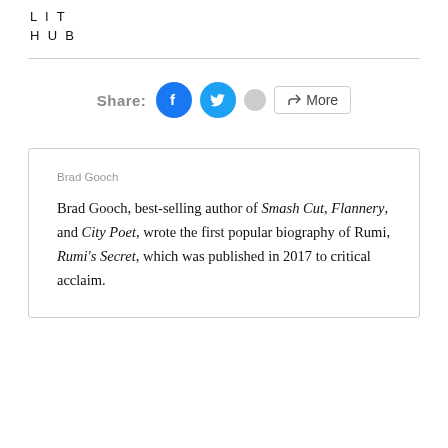LIT HUB
[Figure (screenshot): Share bar with Facebook icon (blue circle), Twitter icon (blue circle), a grey dot icon, and a More button with share icon]
Brad Gooch

Brad Gooch, best-selling author of Smash Cut, Flannery, and City Poet, wrote the first popular biography of Rumi, Rumi's Secret, which was published in 2017 to critical acclaim.